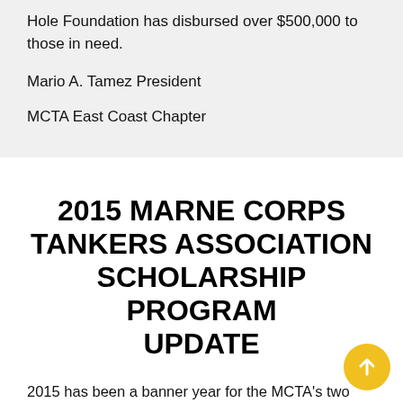Hole Foundation has disbursed over $500,000 to those in need.
Mario A. Tamez President
MCTA East Coast Chapter
2015 MARNE CORPS TANKERS ASSOCIATION SCHOLARSHIP PROGRAM UPDATE
2015 has been a banner year for the MCTA’s two Memorial Scholarship programs: the John Cornelius/Max English Memorial Scholarship and the 1st Lieutenant Michael LiCalzi Memorial Scholarship program. The Association received